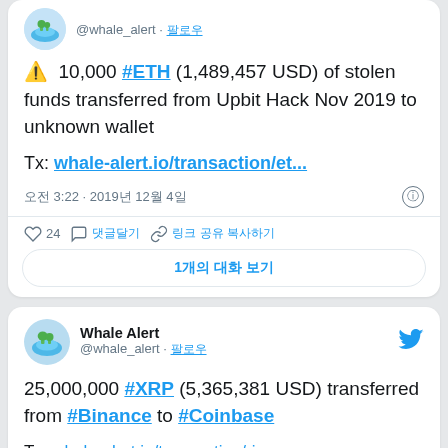⚠️ 10,000 #ETH (1,489,457 USD) of stolen funds transferred from Upbit Hack Nov 2019 to unknown wallet

Tx: whale-alert.io/transaction/et...
오전 3:22 · 2019년 12월 4일
24 | 댓글달기 | 링크 공유 복사하기
1개의 대화 보기
Whale Alert @whale_alert
25,000,000 #XRP (5,365,381 USD) transferred from #Binance to #Coinbase

Tx: whale-alert.io/transaction/ri...